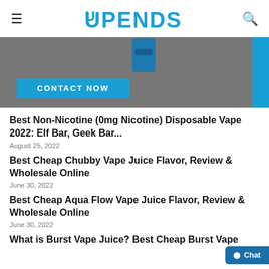UPENDS
[Figure (photo): Banner image showing a vaping product on a dark background with a blue 'CONTACT NOW' button and a blue side accent strip.]
Best Non-Nicotine (0mg Nicotine) Disposable Vape 2022: Elf Bar, Geek Bar...
August 25, 2022
Best Cheap Chubby Vape Juice Flavor, Review & Wholesale Online
June 30, 2022
Best Cheap Aqua Flow Vape Juice Flavor, Review & Wholesale Online
June 30, 2022
What is Burst Vape Juice? Best Cheap Burst Vape